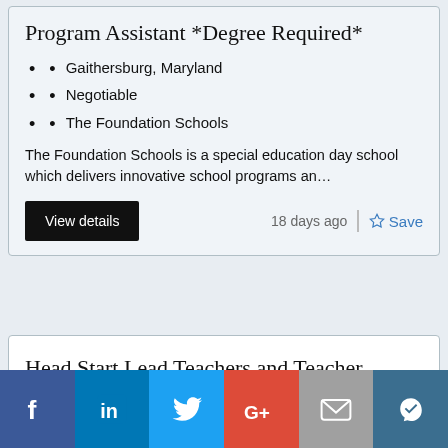Program Assistant *Degree Required*
Gaithersburg, Maryland
Negotiable
The Foundation Schools
The Foundation Schools is a special education day school which delivers innovative school programs an…
View details
18 days ago
Save
Head Start Lead Teachers and Teacher Assistants, Full Time, The